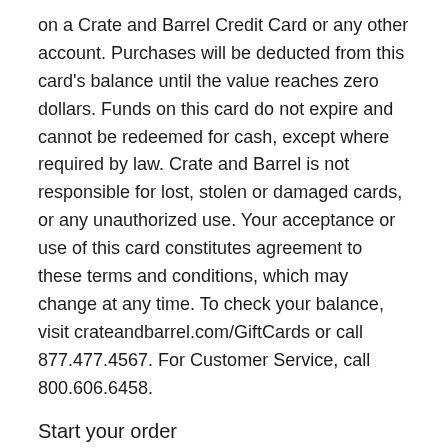on a Crate and Barrel Credit Card or any other account. Purchases will be deducted from this card's balance until the value reaches zero dollars. Funds on this card do not expire and cannot be redeemed for cash, except where required by law. Crate and Barrel is not responsible for lost, stolen or damaged cards, or any unauthorized use. Your acceptance or use of this card constitutes agreement to these terms and conditions, which may change at any time. To check your balance, visit crateandbarrel.com/GiftCards or call 877.477.4567. For Customer Service, call 800.606.6458.
Start your order
Where Can I Buy A Cheaper Jcpenney Gift Card